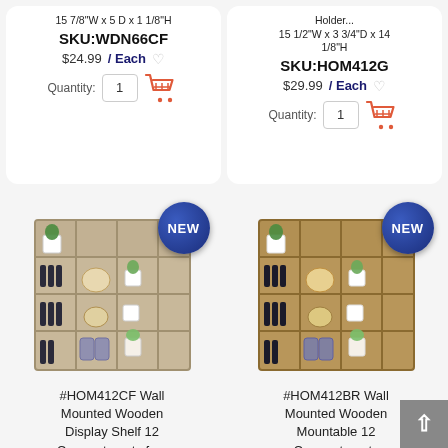15 7/8"W x 5 D x 1 1/8"H
SKU:WDN66CF
$24.99 / Each
Quantity: 1
Holder... 15 1/2"W x 3 3/4"D x 14 1/8"H
SKU:HOM412G
$29.99 / Each
Quantity: 1
[Figure (photo): Wall mounted wooden display shelf with 12 compartments, gray/driftwood finish, labeled NEW]
#HOM412CF Wall Mounted Wooden Display Shelf 12 Compartments fo...
[Figure (photo): Wall mounted wooden display shelf with 12 compartments, brown/walnut finish, labeled NEW]
#HOM412BR Wall Mounted Wooden Mountable 12 Compartments Holder...